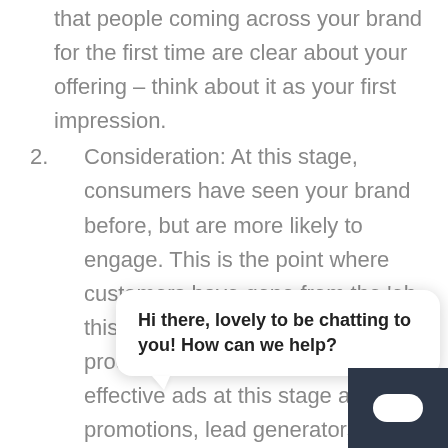that people coming across your brand for the first time are clear about your offering – think about it as your first impression.
2. Consideration: At this stage, consumers have seen your brand before, but are more likely to engage. This is the point where customers have gone from the 'oh this is interesting' to 'hmm, I like this product, maybe I'll buy it'. The most effective ads at this stage are promotions, lead generators, and special offers. (e.g u… button on Facebook).
3. Conversions: Your customers are ready to action! Your Objectives should be focused…
[Figure (screenshot): Chat widget overlay showing message 'Hi there, lovely to be chatting to you! How can we help?' with a dark chat button in the bottom right corner.]